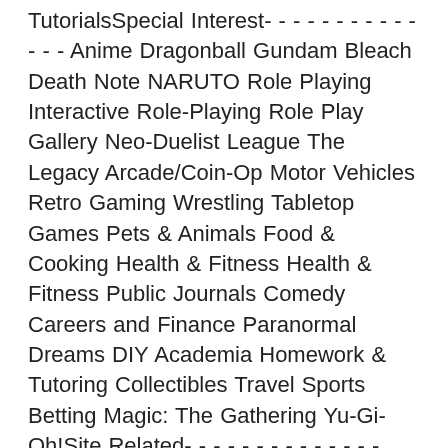TutorialsSpecial Interest- - - - - - - - - - - - - - Anime Dragonball Gundam Bleach Death Note NARUTO Role Playing Interactive Role-Playing Role Play Gallery Neo-Duelist League The Legacy Arcade/Coin-Op Motor Vehicles Retro Gaming Wrestling Tabletop Games Pets & Animals Food & Cooking Health & Fitness Health & Fitness Public Journals Comedy Careers and Finance Paranormal Dreams DIY Academia Homework & Tutoring Collectibles Travel Sports Betting Magic: The Gathering Yu-Gi-Oh!Site Related- - - - - - - - - - - - - - Site News and Announcements Site Changes ReQuests, Feedback and Suggestions Forum Bug Reports Archived Forum Bug Reports Site Bug Reports Archived Site Bug Reports Site/Forums Help and QA FAQ/VFAQ Authors and Feedback Site Contributor"s Forum NEOCRS Bugs User Reviews Critiques and Help NeoAPIProgramming and Design- - - - - - - - - - - - General Programming